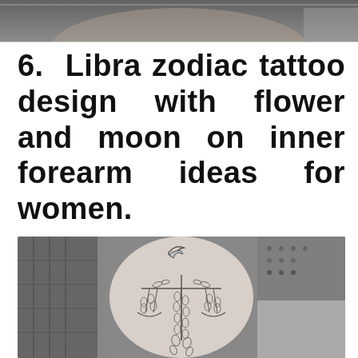[Figure (photo): Partial photo of a person, cropped at top of page — only lower face/neck area visible, with reflective material.]
6. Libra zodiac tattoo design with flower and moon on inner forearm ideas for women.
[Figure (photo): Black and white photo of a forearm showing a fine-line Libra zodiac tattoo design featuring a crescent moon above a decorative scales of justice adorned with floral/botanical elements, set against a background of ornate furniture and fabric.]